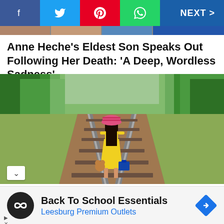[Figure (screenshot): Social sharing navigation bar with Facebook (blue), Twitter (light blue), Pinterest (red), WhatsApp (green) icons and NEXT > button on dark blue background]
Anne Heche's Eldest Son Speaks Out Following Her Death: 'A Deep, Wordless Sadness'
[Figure (photo): A girl in a yellow dress and pink striped hat walking away on railroad tracks through a green forested area, carrying a teddy bear and blue suitcase]
Back To School Essentials
Leesburg Premium Outlets